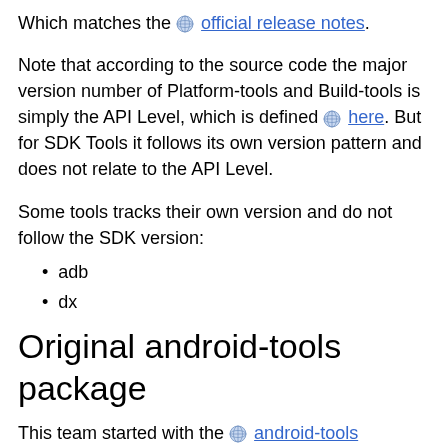Which matches the 🌐 official release notes.
Note that according to the source code the major version number of Platform-tools and Build-tools is simply the API Level, which is defined 🌐 here. But for SDK Tools it follows its own version pattern and does not relate to the API Level.
Some tools tracks their own version and do not follow the SDK version:
adb
dx
Original android-tools package
This team started with the 🌐 android-tools package, which is a manually assembled collection of source